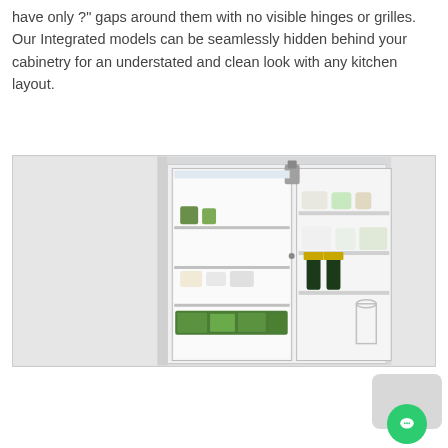have only ?" gaps around them with no visible hinges or grilles. Our Integrated models can be seamlessly hidden behind your cabinetry for an understated and clean look with any kitchen layout.
[Figure (photo): An integrated refrigerator with open door, showing interior shelves stocked with food, vegetables, and two champagne bottles, seamlessly fitted into white cabinet panels]